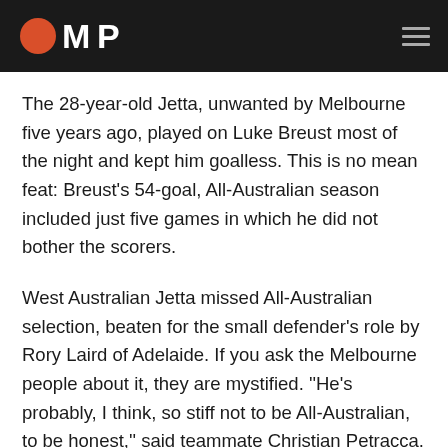OMP
The 28-year-old Jetta, unwanted by Melbourne five years ago, played on Luke Breust most of the night and kept him goalless. This is no mean feat: Breust's 54-goal, All-Australian season included just five games in which he did not bother the scorers.
West Australian Jetta missed All-Australian selection, beaten for the small defender's role by Rory Laird of Adelaide. If you ask the Melbourne people about it, they are mystified. ''He's probably, I think, so stiff not to be All-Australian, to be honest,'' said teammate Christian Petracca. ''He's a